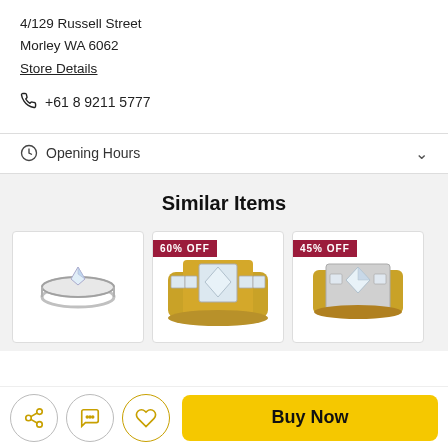4/129 Russell Street
Morley WA 6062
Store Details
+61 8 9211 5777
Opening Hours
Similar Items
[Figure (photo): Silver diamond solitaire ring on white background]
[Figure (photo): Gold diamond channel set ring with 60% OFF badge]
[Figure (photo): Gold and silver diamond ring with 45% OFF badge, partially visible]
Buy Now